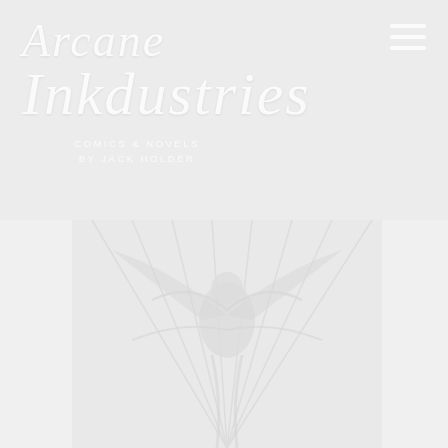Arcane Inkdustries
COMICS & NOVELS BY JACK HOLDER
[Figure (illustration): Faint fantasy illustration of a figure with wings or dramatic background elements, rendered in very light/washed-out tones]